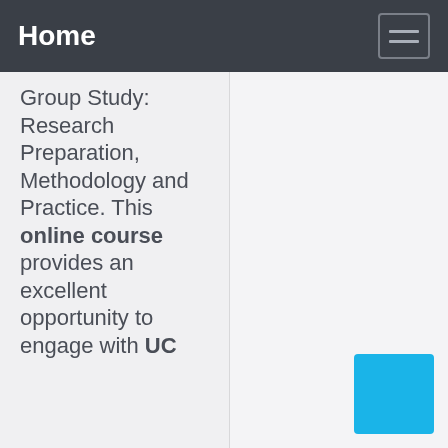Home
Group Study: Research Preparation, Methodology and Practice. This online course provides an excellent opportunity to engage with UC